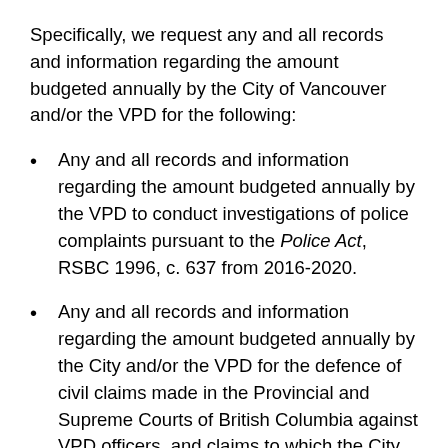Specifically, we request any and all records and information regarding the amount budgeted annually by the City of Vancouver and/or the VPD for the following:
Any and all records and information regarding the amount budgeted annually by the VPD to conduct investigations of police complaints pursuant to the Police Act, RSBC 1996, c. 637 from 2016-2020.
Any and all records and information regarding the amount budgeted annually by the City and/or the VPD for the defence of civil claims made in the Provincial and Supreme Courts of British Columbia against VPD officers, and claims to which the City of Vancouver is joined as a defendant pursuant